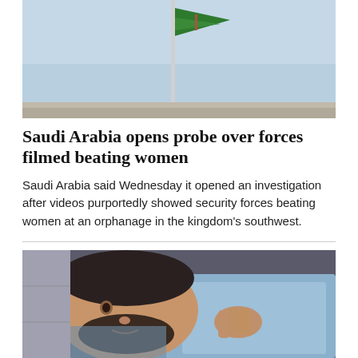[Figure (photo): Saudi Arabia flag on a flagpole against a light blue sky]
Saudi Arabia opens probe over forces filmed beating women
Saudi Arabia said Wednesday it opened an investigation after videos purportedly showed security forces beating women at an orphanage in the kingdom’s southwest.
[Figure (photo): A man lying in a hospital bed, looking at the camera, covered with a light blue blanket]